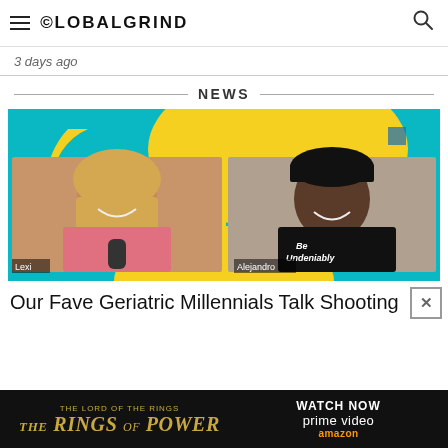GLOBALGRIND
3 days ago
NEWS
[Figure (photo): Video thumbnail showing two people on a split screen call. On the left is a woman with long curly blonde hair wearing a colorful top, labeled 'Lexi'. On the right is a heavyset man in a black t-shirt that says 'Be Undeniably', wearing a black cap, labeled 'Alejandro'. The background graphic is a teal and yellow design.]
Our Fave Geriatric Millennials Talk Shooting
[Figure (screenshot): Advertisement banner for Amazon Prime Video's 'The Lord of the Rings: The Rings of Power'. Black background with gold text reading 'THE LORD OF THE RINGS THE RINGS OF POWER' on the left, and 'WATCH NOW prime video' with Amazon logo on the right.]